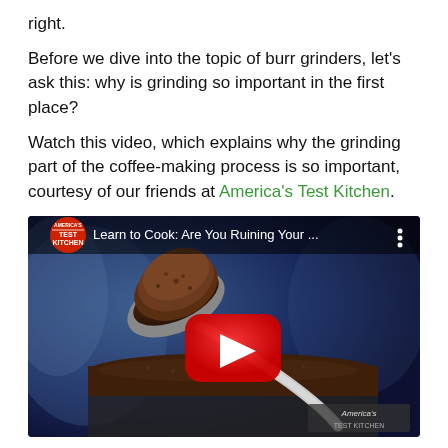right.
Before we dive into the topic of burr grinders, let's ask this: why is grinding so important in the first place?
Watch this video, which explains why the grinding part of the coffee-making process is so important, courtesy of our friends at America's Test Kitchen.
[Figure (screenshot): YouTube video thumbnail showing a spoon with ground coffee over a container of ground coffee. Video title: 'Learn to Cook: Are You Ruining Your ...' by America's Test Kitchen. A red YouTube play button is overlaid in the center.]